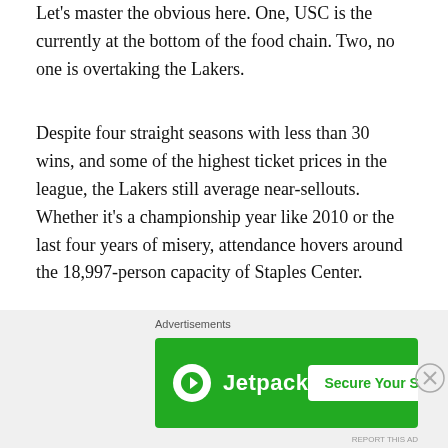Let's master the obvious here. One, USC is the currently at the bottom of the food chain. Two, no one is overtaking the Lakers.
Despite four straight seasons with less than 30 wins, and some of the highest ticket prices in the league, the Lakers still average near-sellouts. Whether it's a championship year like 2010 or the last four years of misery, attendance hovers around the 18,997-person capacity of Staples Center.
The Clippers, despite supplanting the Lakers in the Pacific Division for the better part of the decade, have attracted nearly 2,000 less fans per game this season. Now they
[Figure (other): Jetpack advertisement banner with green background showing Jetpack logo and 'Secure Your Site' button, with 'Advertisements' label above]